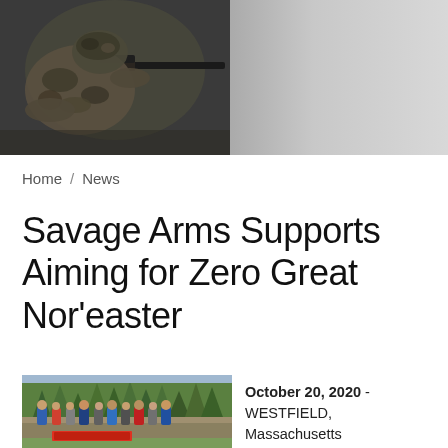[Figure (photo): Hero banner image of a soldier/sniper in camouflage aiming a rifle, with a dark to light gray gradient background]
Home / News
Savage Arms Supports Aiming for Zero Great Nor'easter
October 20, 2020 - WESTFIELD, Massachusetts
[Figure (photo): Group photo of people standing at an outdoor shooting range with trees in the background]